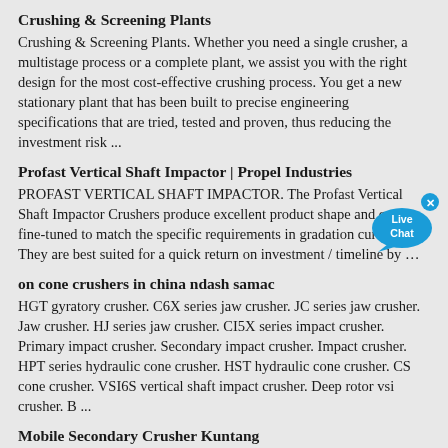Crushing & Screening Plants
Crushing & Screening Plants. Whether you need a single crusher, a multistage process or a complete plant, we assist you with the right design for the most cost-effective crushing process. You get a new stationary plant that has been built to precise engineering specifications that are tried, tested and proven, thus reducing the investment risk ...
Profast Vertical Shaft Impactor | Propel Industries
PROFAST VERTICAL SHAFT IMPACTOR. The Profast Vertical Shaft Impactor Crushers produce excellent product shape and can be fine-tuned to match the specific requirements in gradation curves. They are best suited for a quick return on investment / timeline by …
[Figure (illustration): Live Chat button overlay — blue speech bubble with 'Live Chat' text and an X close button]
on cone crushers in china ndash samac
HGT gyratory crusher. C6X series jaw crusher. JC series jaw crusher. Jaw crusher. HJ series jaw crusher. CI5X series impact crusher. Primary impact crusher. Secondary impact crusher. Impact crusher. HPT series hydraulic cone crusher. HST hydraulic cone crusher. CS cone crusher. VSI6S vertical shaft impact crusher. Deep rotor vsi crusher. B ...
Mobile Secondary Crusher Kuntang
Kuntang Cone Rock Crusher For Salesmall Mobile Crushing. kuntang cone rock crusher for sale mobile vsi crusher kuntang Mobile VSI Crusher is a latest rock crushing equipment